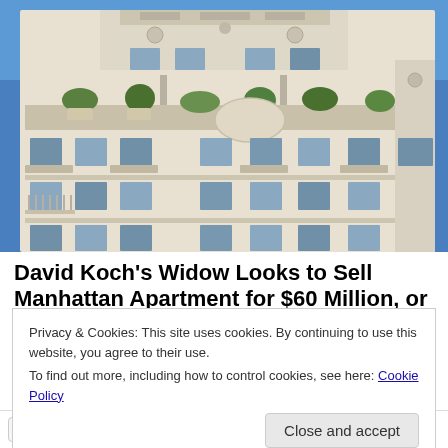[Figure (photo): Exterior photograph of a large white stone luxury apartment building in Manhattan shot from a low angle, showing ornate architectural details, balconies with plants, multiple rows of windows, and a bright blue sky in the background.]
David Koch's Widow Looks to Sell Manhattan Apartment for $60 Million, or More
Privacy & Cookies: This site uses cookies. By continuing to use this website, you agree to their use.
To find out more, including how to control cookies, see here: Cookie Policy
Close and accept
Twitter   Facebook   Reddit